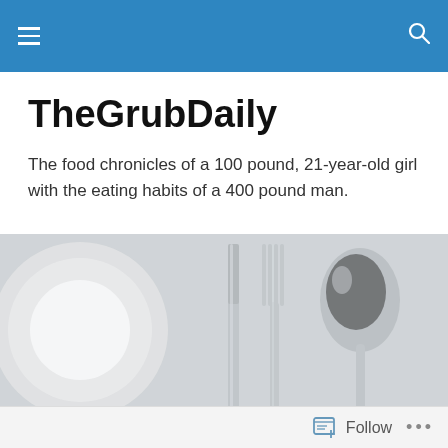TheGrubDaily – navigation bar with hamburger menu and search icon
TheGrubDaily
The food chronicles of a 100 pound, 21-year-old girl with the eating habits of a 400 pound man.
[Figure (photo): Close-up photo of white plates, knife, fork, and spoon on white background]
Eataly in New York *****
[Figure (photo): Partial dark image, beginning of article photo for Eataly in New York post]
Follow ...